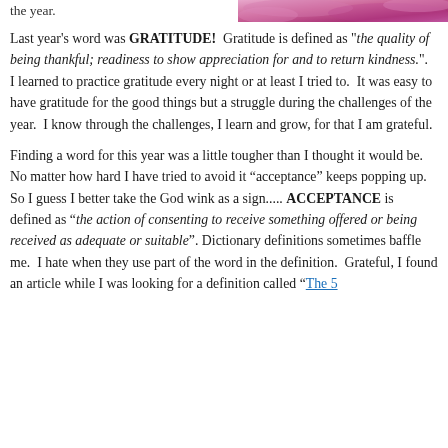the year.
[Figure (photo): Pink/purple watercolor or decorative background image in the top right corner of the page]
Last year's word was GRATITUDE! Gratitude is defined as "the quality of being thankful; readiness to show appreciation for and to return kindness.". I learned to practice gratitude every night or at least I tried to. It was easy to have gratitude for the good things but a struggle during the challenges of the year. I know through the challenges, I learn and grow, for that I am grateful.
Finding a word for this year was a little tougher than I thought it would be. No matter how hard I have tried to avoid it “acceptance” keeps popping up. So I guess I better take the God wink as a sign..... ACCEPTANCE is defined as “the action of consenting to receive something offered or being received as adequate or suitable”. Dictionary definitions sometimes baffle me. I hate when they use part of the word in the definition. Grateful, I found an article while I was looking for a definition called “The 5